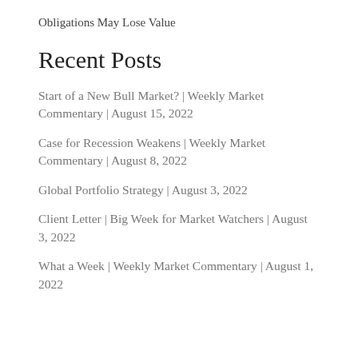Obligations May Lose Value
Recent Posts
Start of a New Bull Market? | Weekly Market Commentary | August 15, 2022
Case for Recession Weakens | Weekly Market Commentary | August 8, 2022
Global Portfolio Strategy | August 3, 2022
Client Letter | Big Week for Market Watchers | August 3, 2022
What a Week | Weekly Market Commentary | August 1, 2022